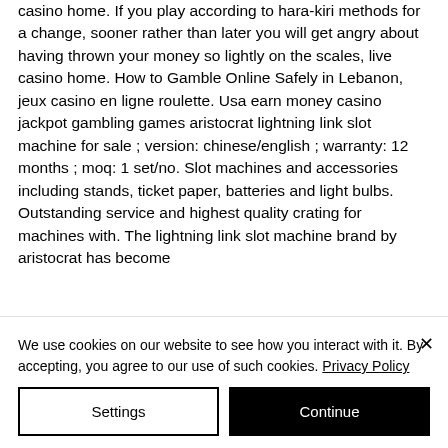casino home. If you play according to hara-kiri methods for a change, sooner rather than later you will get angry about having thrown your money so lightly on the scales, live casino home. How to Gamble Online Safely in Lebanon, jeux casino en ligne roulette. Usa earn money casino jackpot gambling games aristocrat lightning link slot machine for sale ; version: chinese/english ; warranty: 12 months ; moq: 1 set/no. Slot machines and accessories including stands, ticket paper, batteries and light bulbs. Outstanding service and highest quality crating for machines with. The lightning link slot machine brand by aristocrat has become
We use cookies on our website to see how you interact with it. By accepting, you agree to our use of such cookies. Privacy Policy
Settings
Continue